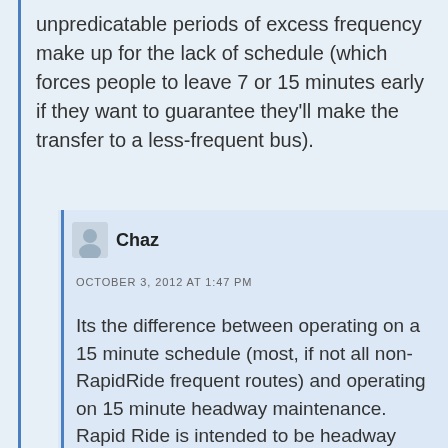unpredicatable periods of excess frequency make up for the lack of schedule (which forces people to leave 7 or 15 minutes early if they want to guarantee they'll make the transfer to a less-frequent bus).
Chaz
OCTOBER 3, 2012 AT 1:47 PM
Its the difference between operating on a 15 minute schedule (most, if not all non-RapidRide frequent routes) and operating on 15 minute headway maintenance. Rapid Ride is intended to be headway maintenance, and by